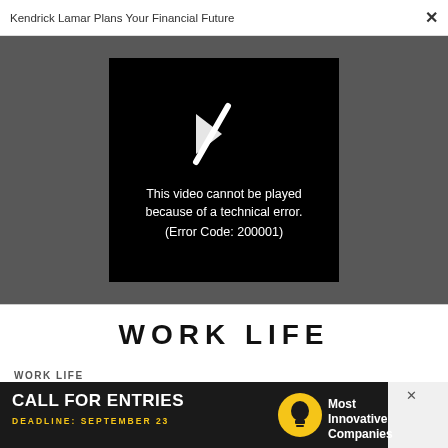Kendrick Lamar Plans Your Financial Future
[Figure (screenshot): Video player showing error message: 'This video cannot be played because of a technical error. (Error Code: 200001)' on black background with broken play icon, set against dark gray background.]
WORK LIFE
WORK LIFE
How the next phase of digital transformation will supercharge your business
[Figure (screenshot): Advertisement banner: CALL FOR ENTRIES, DEADLINE: SEPTEMBER 23, Most Innovative Companies, with lightbulb icon]